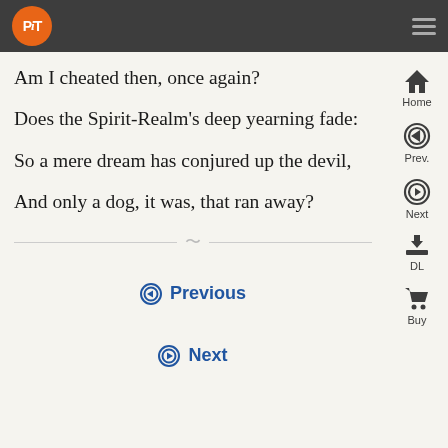PiT navigation bar with logo and menu
Am I cheated then, once again?
Does the Spirit-Realm’s deep yearning fade:
So a mere dream has conjured up the devil,
And only a dog, it was, that ran away?
⮔ Previous
⮕ Next